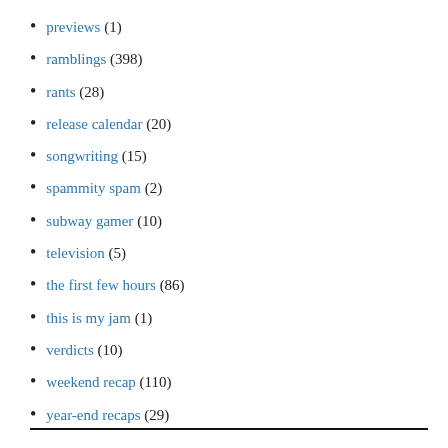previews (1)
ramblings (398)
rants (28)
release calendar (20)
songwriting (15)
spammity spam (2)
subway gamer (10)
television (5)
the first few hours (86)
this is my jam (1)
verdicts (10)
weekend recap (110)
year-end recaps (29)